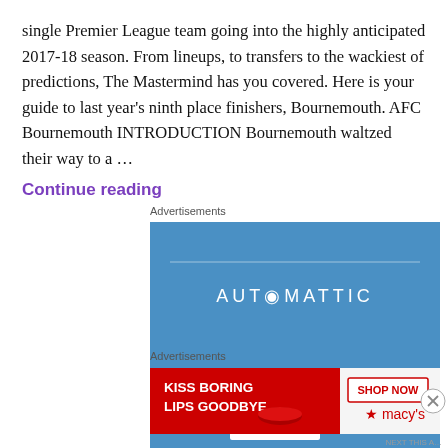single Premier League team going into the highly anticipated 2017-18 season. From lineups, to transfers to the wackiest of predictions, The Mastermind has you covered. Here is your guide to last year’s ninth place finishers, Bournemouth.  AFC Bournemouth INTRODUCTION Bournemouth waltzed their way to a …
Continue reading
Advertisements
[Figure (other): Automattic advertisement banner with blue background, thin horizontal line, AUTOMATTIC logo text, and 'Love working again.' tagline with an Apply button at the bottom.]
Advertisements
[Figure (other): Macy's advertisement banner with red background on left side showing 'KISS BORING LIPS GOODBYE' text, photo of woman with red lips, 'SHOP NOW' button and Macy's star logo on right.]